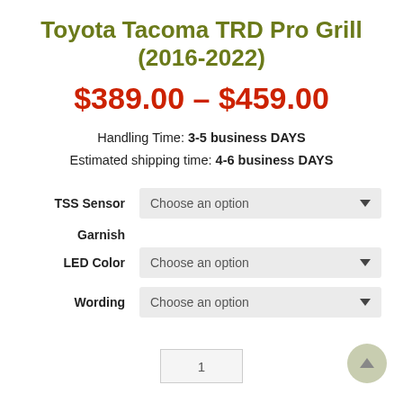Toyota Tacoma TRD Pro Grill (2016-2022)
$389.00 – $459.00
Handling Time: 3-5 business DAYS
Estimated shipping time: 4-6 business DAYS
TSS Sensor Garnish — Choose an option (dropdown)
LED Color — Choose an option (dropdown)
Wording — Choose an option (dropdown)
Quantity: 1